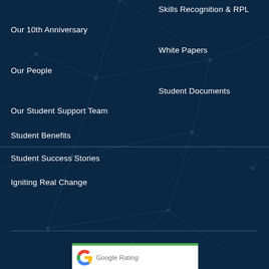Skills Recognition & RPL
Our 10th Anniversary
White Papers
Our People
Student Documents
Our Student Support Team
Student Benefits
Student Success Stories
Igniting Real Change
[Figure (screenshot): Google Rating widget with green top border, Google 'G' logo and text 'Google Rating']